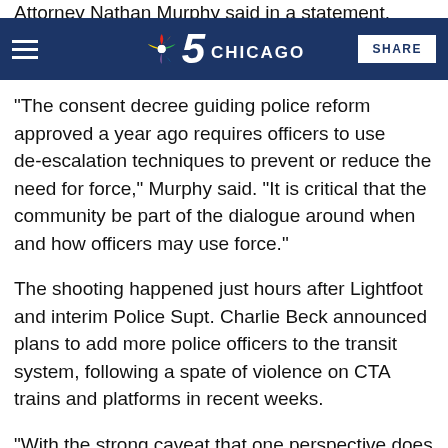NBC 5 Chicago | SHARE
“The consent decree guiding police reform approved a year ago requires officers to use de-escalation techniques to prevent or reduce the need for force,” Murphy said. “It is critical that the community be part of the dialogue around when and how officers may use force.”
The shooting happened just hours after Lightfoot and interim Police Supt. Charlie Beck announced plans to add more police officers to the transit system, following a spate of violence on CTA trains and platforms in recent weeks.
“With the strong caveat that one perspective does not depict the entirety of the incident, the video is extremely disturbing and the actions by these officers are deeply concerning,” Lightfoot said in a tweet Friday night.